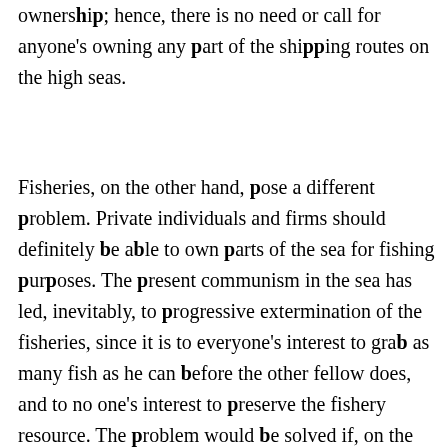ownership; hence, there is no need or call for anyone's owning any part of the shipping routes on the high seas.
Fisheries, on the other hand, pose a different problem. Private individuals and firms should definitely be able to own parts of the sea for fishing purposes. The present communism in the sea has led, inevitably, to progressive extermination of the fisheries, since it is to everyone's interest to grab as many fish as he can before the other fellow does, and to no one's interest to preserve the fishery resource. The problem would be solved if, on the first-ownership-to-first-user principle, parts of the sea could be owned by private enterprise.